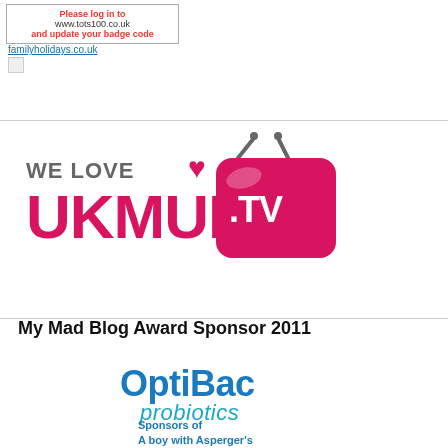[Figure (screenshot): Badge box with text: Please log in to www.tots100.co.uk and update your badge code. Below it a link: familyholidays.co.uk with broken image icon.]
[Figure (logo): We Love UKMums.TV logo with pink heart, pink TV icon with .TV text, and UKMUMS in pink bold large letters.]
My Mad Blog Award Sponsor 2011
[Figure (logo): OptiBac probiotics logo in blue/teal text with italic probiotics subtitle.]
Sponsors of
A boy with Asperger's